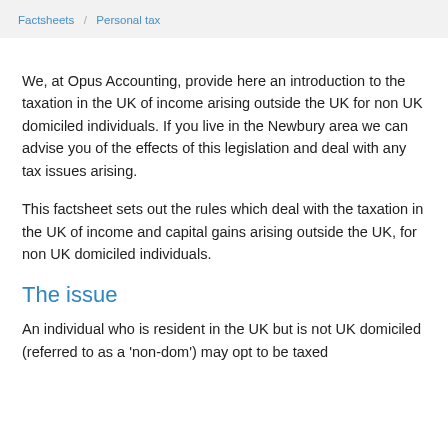Factsheets / Personal tax
We, at Opus Accounting, provide here an introduction to the taxation in the UK of income arising outside the UK for non UK domiciled individuals. If you live in the Newbury area we can advise you of the effects of this legislation and deal with any tax issues arising.
This factsheet sets out the rules which deal with the taxation in the UK of income and capital gains arising outside the UK, for non UK domiciled individuals.
The issue
An individual who is resident in the UK but is not UK domiciled (referred to as a 'non-dom') may opt to be taxed